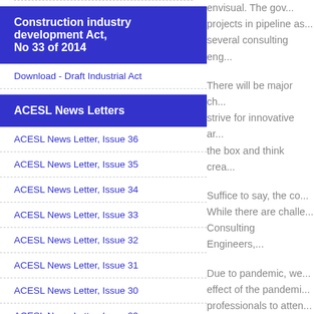Construction industry development Act, No 33 of 2014
Download - Draft Industrial Act
ACESL News Letters
ACESL News Letter, Issue 36
ACESL News Letter, Issue 35
ACESL News Letter, Issue 34
ACESL News Letter, Issue 33
ACESL News Letter, Issue 32
ACESL News Letter, Issue 31
ACESL News Letter, Issue 30
ACESL News Letter, Issue 29
envisual. The go... projects in pipeline as... several consulting eng...
There will be major ch... strive for innovative ar... the box and think crea...
Suffice to say, the co... While there are challe... Consulting Engineers,...
Due to pandemic, we... effect of the pandemi... professionals to atten... limited during the past...
Construction Industry... firms. ACESL also acti...
This is the high time to...